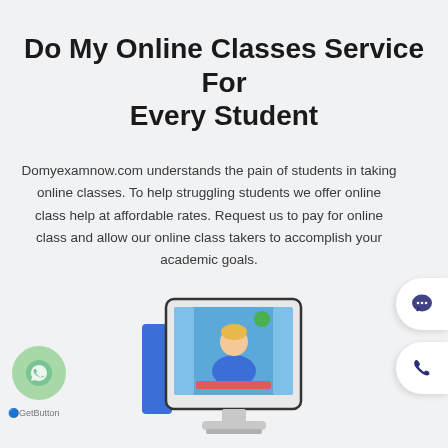Do My Online Classes Service For Every Student
Domyexamnow.com understands the pain of students in taking online classes. To help struggling students we offer online class help at affordable rates. Request us to pay for online class and allow our online class takers to accomplish your academic goals.
[Figure (illustration): WhatsApp button (green circle with phone icon) on left side, and chat bubble and phone icons on right side as floating contact widgets]
[Figure (illustration): Computer monitor showing an online class with a student/teacher figure, blue screen background, on-screen video call interface]